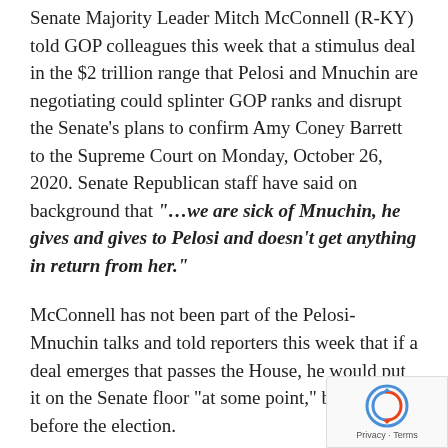Senate Majority Leader Mitch McConnell (R-KY) told GOP colleagues this week that a stimulus deal in the $2 trillion range that Pelosi and Mnuchin are negotiating could splinter GOP ranks and disrupt the Senate’s plans to confirm Amy Coney Barrett to the Supreme Court on Monday, October 26, 2020. Senate Republican staff have said on background that “…we are sick of Mnuchin, he gives and gives to Pelosi and doesn’t get anything in return from her.”
McConnell has not been part of the Pelosi-Mnuchin talks and told reporters this week that if a deal emerges that passes the House, he would put it on the Senate floor “at some point,” but perhaps before the election.